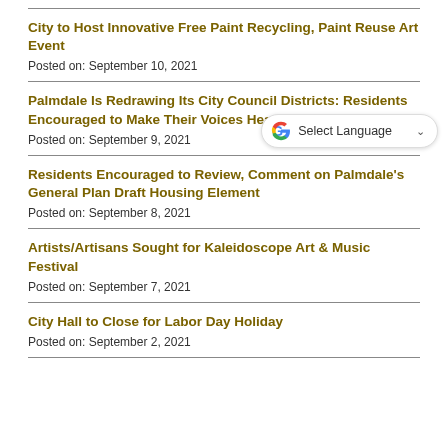City to Host Innovative Free Paint Recycling, Paint Reuse Art Event
Posted on: September 10, 2021
Palmdale Is Redrawing Its City Council Districts: Residents Encouraged to Make Their Voices Heard
Posted on: September 9, 2021
Residents Encouraged to Review, Comment on Palmdale's General Plan Draft Housing Element
Posted on: September 8, 2021
Artists/Artisans Sought for Kaleidoscope Art & Music Festival
Posted on: September 7, 2021
City Hall to Close for Labor Day Holiday
Posted on: September 2, 2021